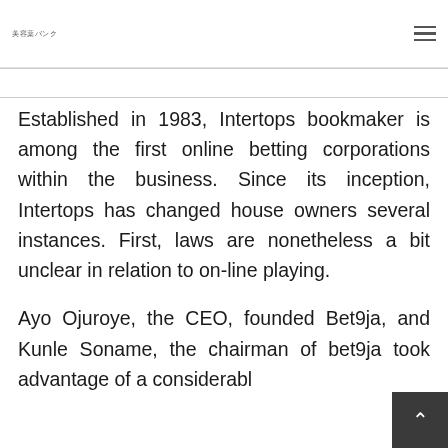美容薬バンク
Established in 1983, Intertops bookmaker is among the first online betting corporations within the business. Since its inception, Intertops has changed house owners several instances. First, laws are nonetheless a bit unclear in relation to on-line playing.
Ayo Ojuroye, the CEO, founded Bet9ja, and Kunle Soname, the chairman of bet9ja took advantage of a considerabl